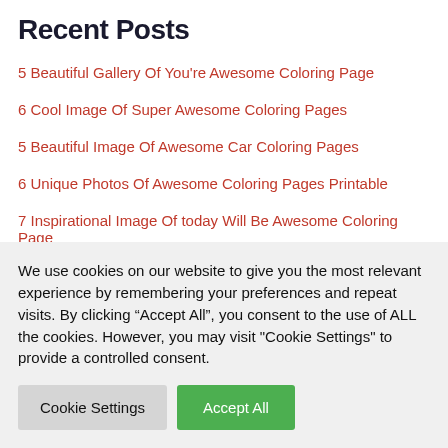Recent Posts
5 Beautiful Gallery Of You're Awesome Coloring Page
6 Cool Image Of Super Awesome Coloring Pages
5 Beautiful Image Of Awesome Car Coloring Pages
6 Unique Photos Of Awesome Coloring Pages Printable
7 Inspirational Image Of today Will Be Awesome Coloring Page
Archives
We use cookies on our website to give you the most relevant experience by remembering your preferences and repeat visits. By clicking “Accept All”, you consent to the use of ALL the cookies. However, you may visit "Cookie Settings" to provide a controlled consent.